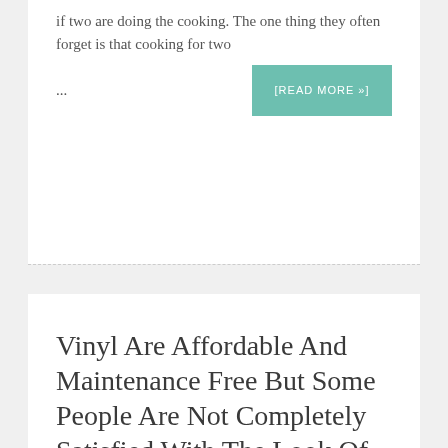if two are doing the cooking. The one thing they often forget is that cooking for two
...
[READ MORE »]
Vinyl Are Affordable And Maintenance Free But Some People Are Not Completely Satisfied With The Look Of